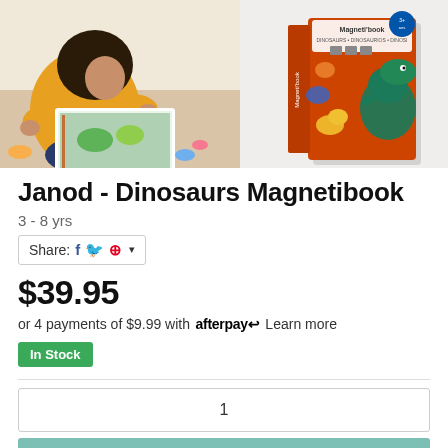[Figure (photo): Child playing with Janod Dinosaurs Magnetibook toy on the left, and product box/packaging on the right showing colorful dinosaur illustrations on orange background]
Janod - Dinosaurs Magnetibook
3 - 8 yrs
Share: [Facebook] [Twitter] [Pinterest] ▾
$39.95
or 4 payments of $9.99 with afterpay↩ Learn more
In Stock
1